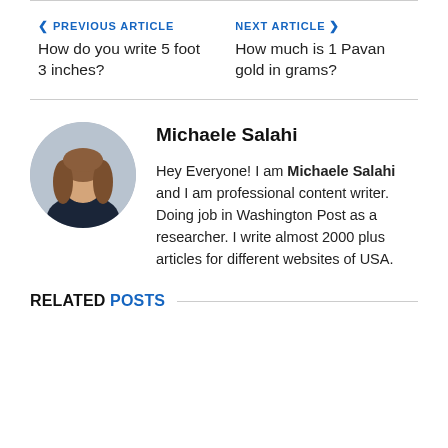< PREVIOUS ARTICLE | How do you write 5 foot 3 inches?
NEXT ARTICLE > | How much is 1 Pavan gold in grams?
Michaele Salahi
Hey Everyone! I am Michaele Salahi and I am professional content writer. Doing job in Washington Post as a researcher. I write almost 2000 plus articles for different websites of USA.
RELATED POSTS